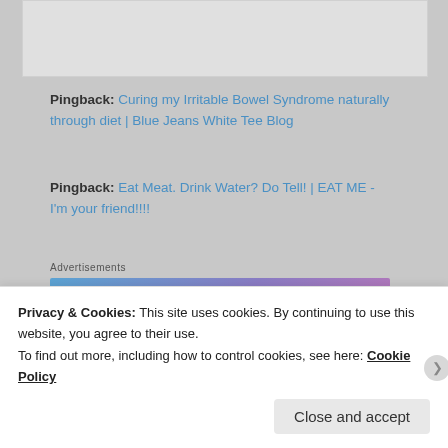[Figure (other): Gray placeholder image box at top of page]
Pingback: Curing my Irritable Bowel Syndrome naturally through diet | Blue Jeans White Tee Blog
Pingback: Eat Meat. Drink Water? Do Tell! | EAT ME - I'm your friend!!!!
Advertisements
[Figure (other): WordPress.com advertisement banner: 'Simplified pricing for everything you need.' with WordPress.com logo on blue-purple-pink gradient background]
REPORT THIS AD
Privacy & Cookies: This site uses cookies. By continuing to use this website, you agree to their use.
To find out more, including how to control cookies, see here: Cookie Policy
Close and accept